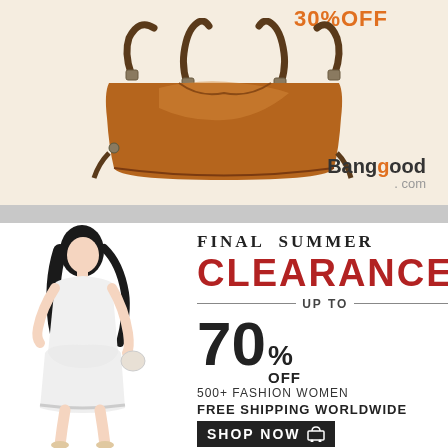[Figure (photo): Banggood advertisement showing a brown leather handbag with 30% OFF text and Banggood.com logo on a cream background]
[Figure (infographic): OASAP Final Summer Clearance ad: woman in white dress, OASAP logo with sunburst, text reading FINAL SUMMER CLEARANCE UP TO 70% OFF, 500+ FASHION WOMEN, FREE SHIPPING WORLDWIDE, SHOP NOW button]